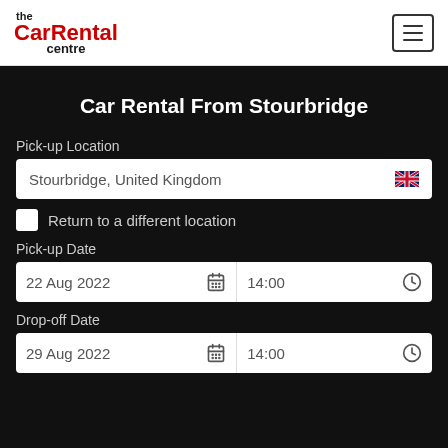the CarRental centre
Car Rental From Stourbridge
Pick-up Location
Stourbridge, United Kingdom
Return to a different location
Pick-up Date
22 Aug 2022  14:00
Drop-off Date
29 Aug 2022  14:00